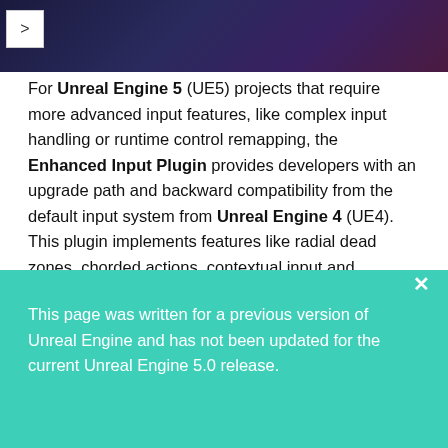[Figure (screenshot): Dark purple/navy banner header with a navigation arrow button on the left side]
For Unreal Engine 5 (UE5) projects that require more advanced input features, like complex input handling or runtime control remapping, the Enhanced Input Plugin provides developers with an upgrade path and backward compatibility from the default input system from Unreal Engine 4 (UE4). This plugin implements features like radial dead zones, chorded actions, contextual input and prioritization, as well as the ability to extend your own filtering and processing of raw input data in an Asset-based environment.
This page was written for a previous version of Unreal Engine and has not been updated for the current Unreal Engine 5.0 release.